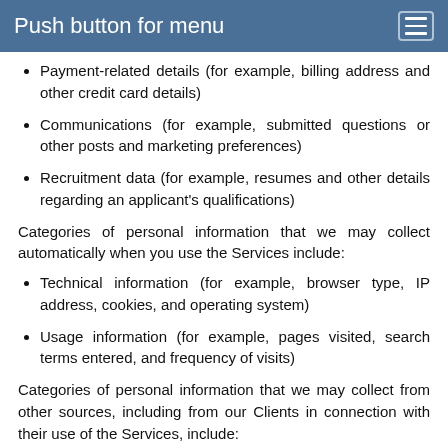Push button for menu
Payment-related details (for example, billing address and other credit card details)
Communications (for example, submitted questions or other posts and marketing preferences)
Recruitment data (for example, resumes and other details regarding an applicant's qualifications)
Categories of personal information that we may collect automatically when you use the Services include:
Technical information (for example, browser type, IP address, cookies, and operating system)
Usage information (for example, pages visited, search terms entered, and frequency of visits)
Categories of personal information that we may collect from other sources, including from our Clients in connection with their use of the Services, include:
End User contact information (for example, name, phone...